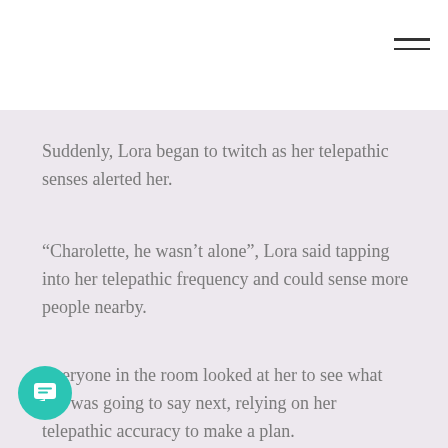Suddenly, Lora began to twitch as her telepathic senses alerted her.
“Charolette, he wasn’t alone”, Lora said tapping into her telepathic frequency and could sense more people nearby.
Everyone in the room looked at her to see what she was going to say next, relying on her telepathic accuracy to make a plan.